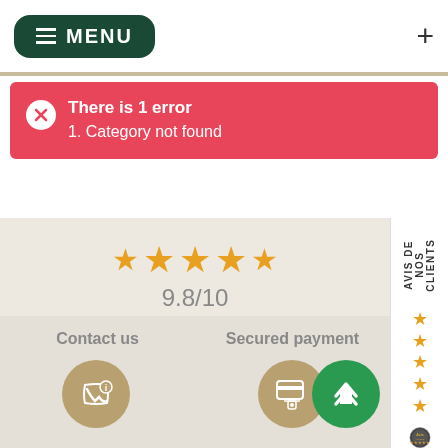MENU
There is 1 error
1. Category not found
[Figure (infographic): Customer review widget showing 9.8/10 rating, Excellent, based on 4172 avis (reviews), with Avis Vérifiés branding and 5 orange stars]
Contact us
Secured payment